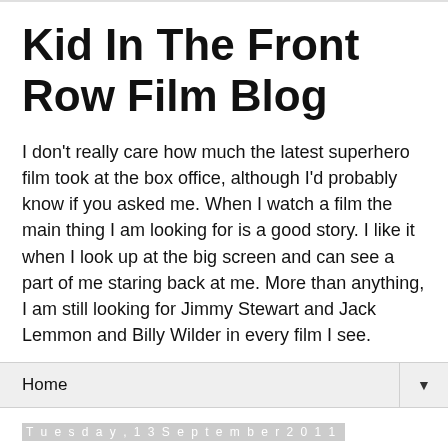Kid In The Front Row Film Blog
I don't really care how much the latest superhero film took at the box office, although I'd probably know if you asked me. When I watch a film the main thing I am looking for is a good story. I like it when I look up at the big screen and can see a part of me staring back at me. More than anything, I am still looking for Jimmy Stewart and Jack Lemmon and Billy Wilder in every film I see.
Home
Tuesday, 13 September 2011
VUE WESTFIELD STATFORD CITY - New Cinema Review